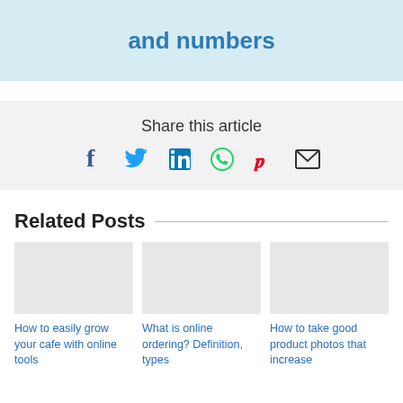and numbers
Share this article
[Figure (infographic): Social share icons: Facebook, Twitter, LinkedIn, WhatsApp, Pinterest, Email]
Related Posts
How to easily grow your cafe with online tools
What is online ordering? Definition, types
How to take good product photos that increase